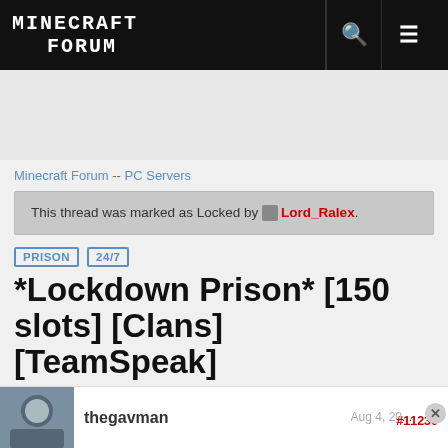Minecraft Forum
Minecraft Forum  --  PC Servers
This thread was marked as Locked by Lord_Ralex.
PRISON  24/7
*Lockdown Prison* [150 slots] [Clans] [TeamSpeak]
|<<   <   441 ∨   >   >>|
thegavman   Aug 4, 20...  #11230